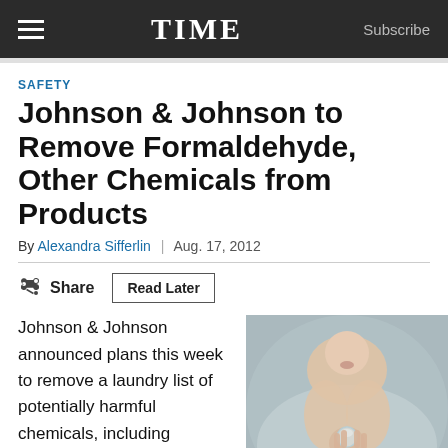TIME  Subscribe
SAFETY
Johnson & Johnson to Remove Formaldehyde, Other Chemicals from Products
By Alexandra Sifferlin | Aug. 17, 2012
Share  Read Later
Johnson & Johnson announced plans this week to remove a laundry list of potentially harmful chemicals, including formaldehyde, from its personal care products by
[Figure (photo): Close-up photo of a baby's hands holding a small glass jar or marble, blurred background]